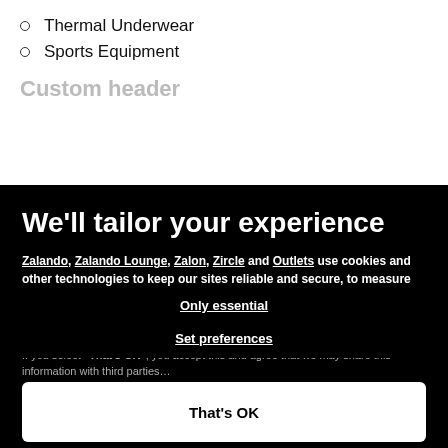Thermal Underwear
Sports Equipment
Custom header (partially visible)
We'll tailor your experience
Zalando, Zalando Lounge, Zalon, Zircle and Outlets use cookies and other technologies to keep our sites reliable and secure, to measure their performance, to deliver a personalised shopping experience and personalised advertising. To do this, we collect information about users, their behaviour, and their devices.
If you select "That's OK", you accept this and agree that we may share this information with third parties…
Only essential
Set preferences
That's OK